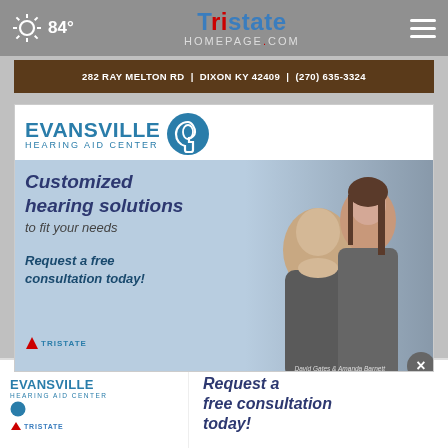84° | TRISTATE HOMEPAGE.com
282 RAY MELTON RD | DIXON KY 42409 | (270) 635-3324
[Figure (advertisement): Evansville Hearing Aid Center advertisement with logo, ear icon, and two people (David Gates & Amanda Barnett). Text: Customized hearing solutions to fit your needs. Request a free consultation today!]
[Figure (advertisement): Evansville Hearing Aid Center bottom banner ad. Text: Request a free consultation today!]